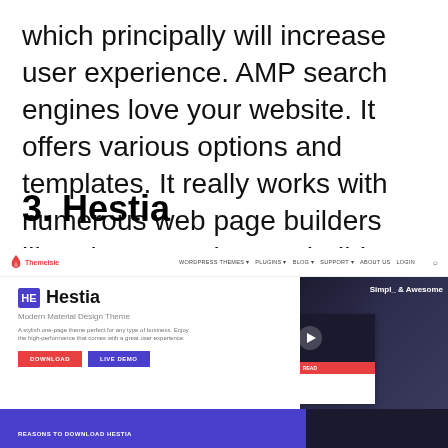which principally will increase user experience. AMP search engines love your website. It offers various options and templates. It really works with numerous web page builders like Elementor, beaver builder, and so on. Astra is ideal for constructing any sort of website.
3. Hestia
[Figure (screenshot): Screenshot of the Themeisle Hestia WordPress theme page, showing navigation bar with Themeisle logo and menu items (WordPress Themes, Plugins, Blog, Support, About Us, Login), the Hestia hero section with HE logo box, title 'Hestia', subtitle 'Modern Material Design Theme', description text, Download and Live Demo buttons, and overlapping browser mockups showing a dark building background with 'Simple & Awesome' text and play button, plus a bottom section with purple background showing 'Reasons to Download Hestia'.]